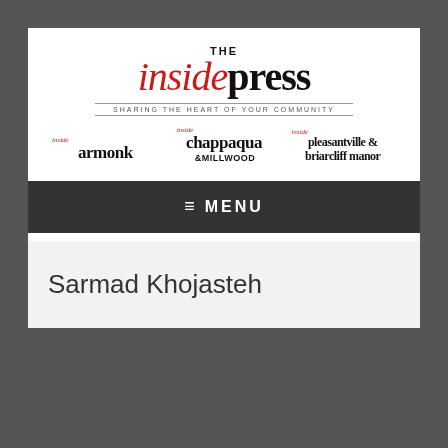[Figure (logo): The Inside Press logo with tagline 'Sharing the Heart of Your Community' and three sub-brand logos: inside armonk, inside chappaqua & millwood, inside pleasantville & briarcliff manor]
≡  MENU
Sarmad Khojasteh